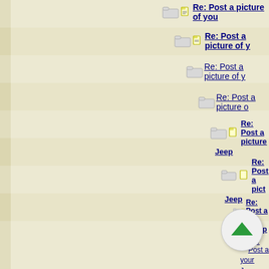Re: Post a picture of you...
Re: Post a picture of y...
Re: Post a picture of y...
Re: Post a picture o...
Re: Post a picture... Jeep
Re: Post a pict... Jeep
Re: Post a p... your Jeep
Re: Post a... your Jeep
Re: Pos... of your Jeep
Re: P... of your Jeep
Re... picture of
picture...